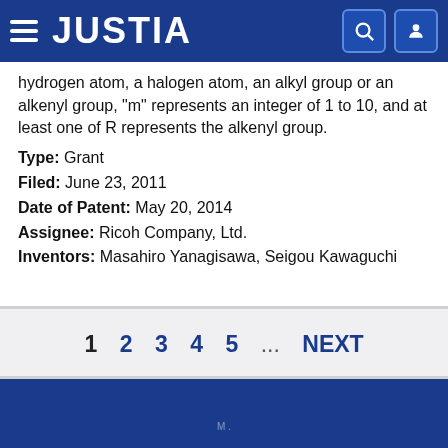JUSTIA
hydrogen atom, a halogen atom, an alkyl group or an alkenyl group, “m” represents an integer of 1 to 10, and at least one of R represents the alkenyl group.
Type: Grant
Filed: June 23, 2011
Date of Patent: May 20, 2014
Assignee: Ricoh Company, Ltd.
Inventors: Masahiro Yanagisawa, Seigou Kawaguchi
1 2 3 4 5 ... NEXT